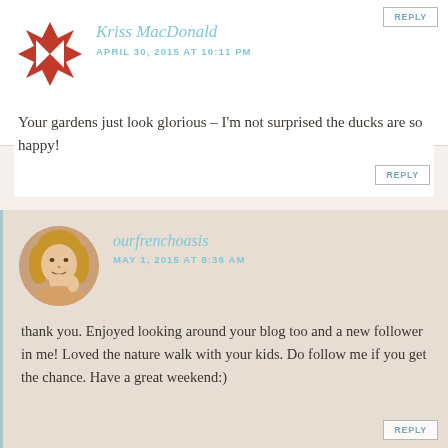[Figure (other): REPLY button at top right]
[Figure (logo): Red quilt-block star logo avatar for Kriss MacDonald]
Kriss MacDonald
APRIL 30, 2015 AT 10:11 PM
Your gardens just look glorious – I'm not surprised the ducks are so happy!
[Figure (other): REPLY button]
[Figure (photo): Circular profile photo of ourfrenchoasis — blonde woman]
ourfrenchoasis
MAY 1, 2015 AT 8:38 AM
thank you. Enjoyed looking around your blog too and a new follower in me! Loved the nature walk with your kids. Do follow me if you get the chance. Have a great weekend:)
[Figure (other): REPLY button]